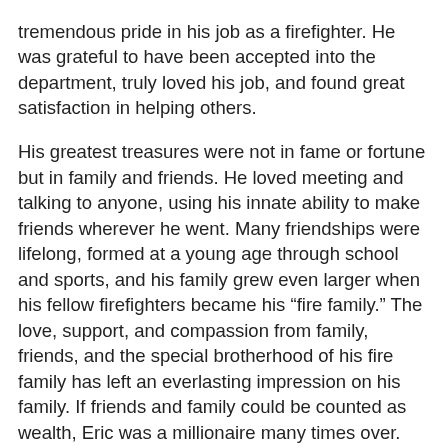tremendous pride in his job as a firefighter. He was grateful to have been accepted into the department, truly loved his job, and found great satisfaction in helping others.
His greatest treasures were not in fame or fortune but in family and friends. He loved meeting and talking to anyone, using his innate ability to make friends wherever he went. Many friendships were lifelong, formed at a young age through school and sports, and his family grew even larger when his fellow firefighters became his “fire family.” The love, support, and compassion from family, friends, and the special brotherhood of his fire family has left an everlasting impression on his family. If friends and family could be counted as wealth, Eric was a millionaire many times over.
Eric lived life to the fullest and was always busy fulfilling his desires. He was an avid fisherman, hunter, and sportsman. His love of the ocean, whether on a boat or on the shore, took him on many exciting adventures. His love of rock hunting took him to many places in Hawaii and Canada, where he enjoyed the thrill of bagging a trophy bird, goat, wild boar, deer, sheep, or elk. His love of sports afforded him the pleasure of participating in Little League baseball